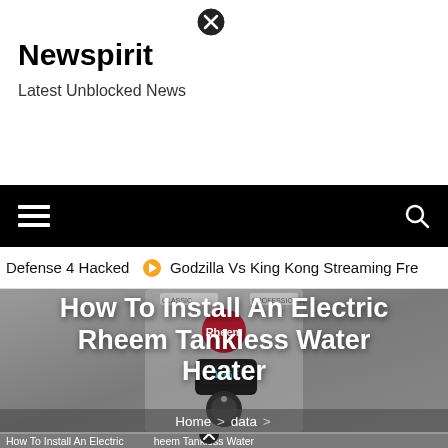Newspirit
Latest Unblocked News
[Figure (screenshot): Close button (X in circle) at top center of page]
[Figure (screenshot): Black navigation bar with hamburger menu icon on left and search icon on right]
Defense 4 Hacked ⊙ Godzilla Vs King Kong Streaming Fre
[Figure (photo): Rheem tankless water heater device shown in gray background - Classic and Professional series, with digital display showing 105F and a control knob]
How To Install An Electric Rheem Tankless Water Heater
Home > data >
How To Install An Electric Rheem Tankless Water